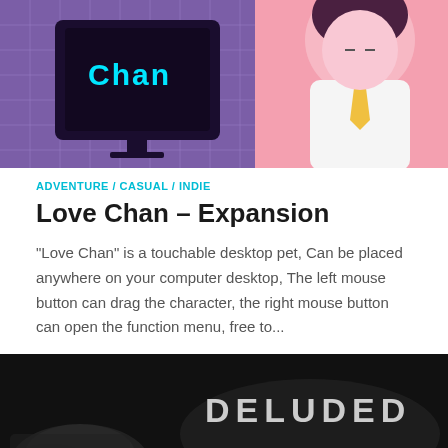[Figure (illustration): Top portion of a colorful anime-style game artwork showing a pink character and a purple monitor/computer screen with 'Chan' text visible, on a grid background]
ADVENTURE / CASUAL / INDIE
Love Chan – Expansion
"Love Chan" is a touchable desktop pet, Can be placed anywhere on your computer desktop, The left mouse button can drag the character, the right mouse button can open the function menu, free to...
[Figure (screenshot): Black and white dark atmospheric game screenshot with large text 'DELUDED MIND' displayed in the center-right area]